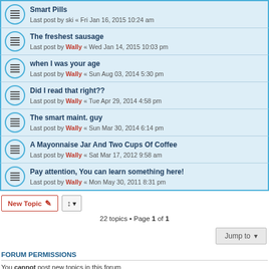Smart Pills — Last post by ski « Fri Jan 16, 2015 10:24 am
The freshest sausage — Last post by Wally « Wed Jan 14, 2015 10:03 pm
when I was your age — Last post by Wally « Sun Aug 03, 2014 5:30 pm
Did I read that right?? — Last post by Wally « Tue Apr 29, 2014 4:58 pm
The smart maint. guy — Last post by Wally « Sun Mar 30, 2014 6:14 pm
A Mayonnaise Jar And Two Cups Of Coffee — Last post by Wally « Sat Mar 17, 2012 9:58 am
Pay attention, You can learn something here! — Last post by Wally « Mon May 30, 2011 8:31 pm
22 topics • Page 1 of 1
FORUM PERMISSIONS
You cannot post new topics in this forum
You cannot reply to topics in this forum
You cannot edit your posts in this forum